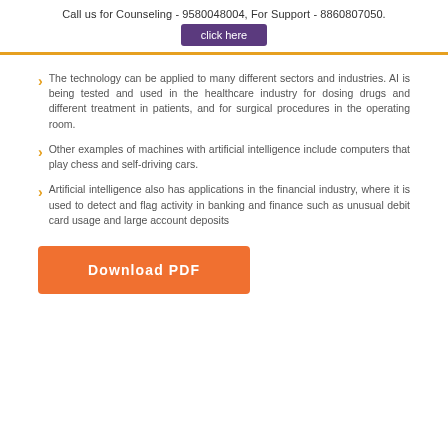Call us for Counseling - 9580048004, For Support - 8860807050.
click here
The technology can be applied to many different sectors and industries. AI is being tested and used in the healthcare industry for dosing drugs and different treatment in patients, and for surgical procedures in the operating room.
Other examples of machines with artificial intelligence include computers that play chess and self-driving cars.
Artificial intelligence also has applications in the financial industry, where it is used to detect and flag activity in banking and finance such as unusual debit card usage and large account deposits
Download PDF